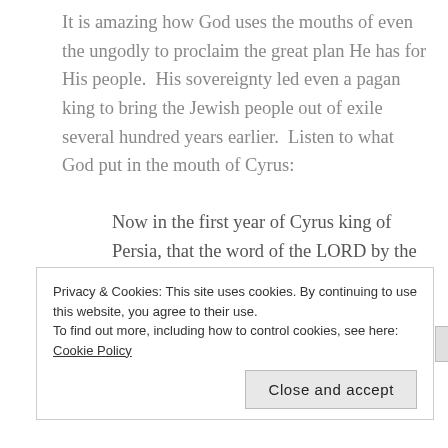It is amazing how God uses the mouths of even the ungodly to proclaim the great plan He has for His people.  His sovereignty led even a pagan king to bring the Jewish people out of exile several hundred years earlier.  Listen to what God put in the mouth of Cyrus:
Now in the first year of Cyrus king of Persia, that the word of the LORD by the mouth of Jeremiah might be fulfilled, the LORD stirred up the spirit of Cyrus king of Persia, so that he made a proclamation throughout all his kingdom and
Privacy & Cookies: This site uses cookies. By continuing to use this website, you agree to their use.
To find out more, including how to control cookies, see here: Cookie Policy
Close and accept